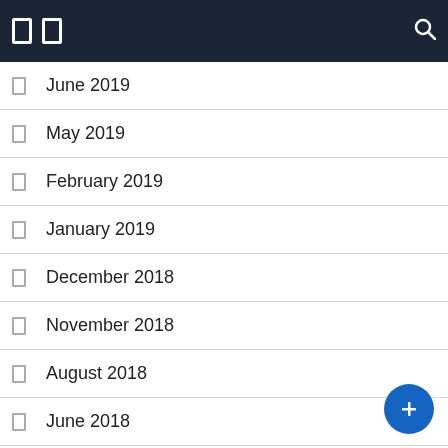Navigation header with icons
June 2019
May 2019
February 2019
January 2019
December 2018
November 2018
August 2018
June 2018
March 2018
December 2017